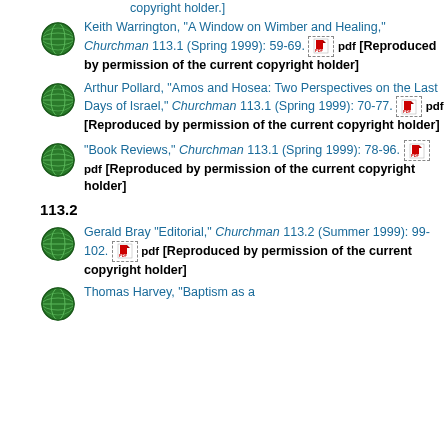Keith Warrington, "A Window on Wimber and Healing," Churchman 113.1 (Spring 1999): 59-69. pdf [Reproduced by permission of the current copyright holder]
Arthur Pollard, "Amos and Hosea: Two Perspectives on the Last Days of Israel," Churchman 113.1 (Spring 1999): 70-77. pdf [Reproduced by permission of the current copyright holder]
"Book Reviews," Churchman 113.1 (Spring 1999): 78-96. pdf [Reproduced by permission of the current copyright holder]
113.2
Gerald Bray "Editorial," Churchman 113.2 (Summer 1999): 99-102. pdf [Reproduced by permission of the current copyright holder]
Thomas Harvey, "Baptism as a ...